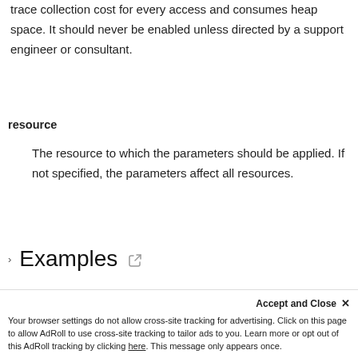trace collection cost for every access and consumes heap space. It should never be enabled unless directed by a support engineer or consultant.
resource
The resource to which the parameters should be applied. If not specified, the parameters affect all resources.
Examples
Print the current memory leak detection status
Accept and Close ✕
Your browser settings do not allow cross-site tracking for advertising. Click on this page to allow AdRoll to use cross-site tracking to tailor ads to you. Learn more or opt out of this AdRoll tracking by clicking here. This message only appears once.